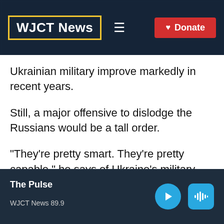WJCT News
Ukrainian military improve markedly in recent years.
Still, a major offensive to dislodge the Russians would be a tall order.
"They're pretty smart. They're pretty capable," he says of Ukraine's military. "But putting together a large operation, let's say, to send five brigades in an attempt to
The Pulse
WJCT News 89.9